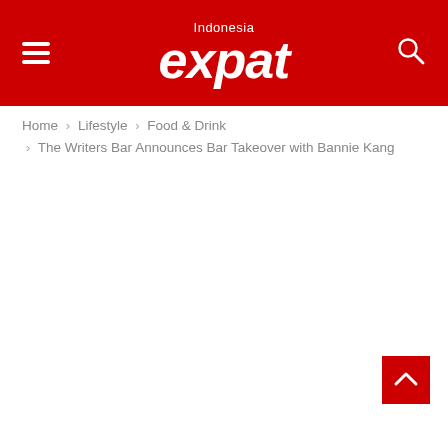Indonesia expat
Home > Lifestyle > Food & Drink > The Writers Bar Announces Bar Takeover with Bannie Kang